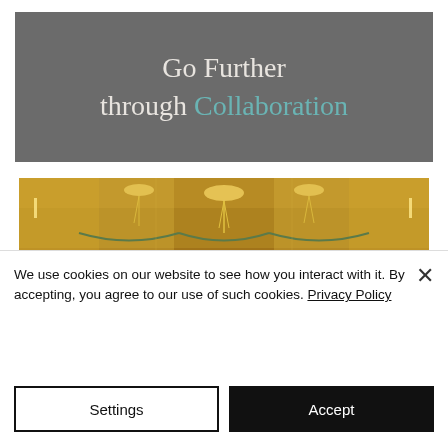[Figure (illustration): Dark grey banner with text 'Go Further through Collaboration' where 'Collaboration' is in teal/green color and the rest is in light grey/white serif font]
[Figure (photo): Interior photograph of an ornate palace or grand hall with golden chandeliers, gilded walls, and decorative swags]
We use cookies on our website to see how you interact with it. By accepting, you agree to our use of such cookies. Privacy Policy
Settings
Accept